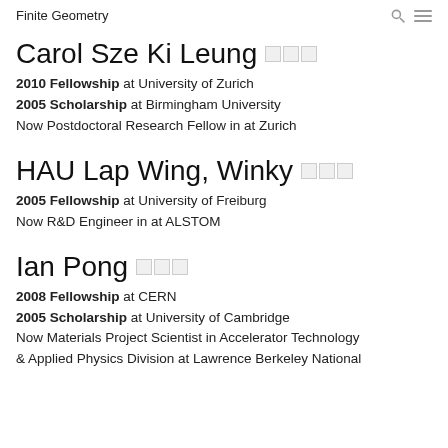Finite Geometry
Carol Sze Ki Leung
2010 Fellowship at University of Zurich
2005 Scholarship at Birmingham University
Now Postdoctoral Research Fellow in at Zurich
HAU Lap Wing, Winky
2005 Fellowship at University of Freiburg
Now R&D Engineer in at ALSTOM
Ian Pong
2008 Fellowship at CERN
2005 Scholarship at University of Cambridge
Now Materials Project Scientist in Accelerator Technology & Applied Physics Division at Lawrence Berkeley National